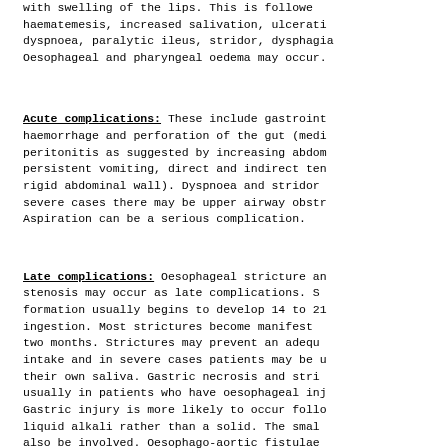with swelling of the lips.  This is followed by haematemesis, increased salivation, ulceration, dyspnoea, paralytic ileus, stridor, dysphagia. Oesophageal and pharyngeal oedema may occur.
Acute complications: These include gastrointestinal haemorrhage and perforation of the gut (mediated by peritonitis as suggested by increasing abdominal pain, persistent vomiting, direct and indirect tenderness and rigid abdominal wall).  Dyspnoea and stridor. In severe cases there may be upper airway obstruction. Aspiration can be a serious complication.
Late complications: Oesophageal stricture and gastric stenosis may occur as late complications.  Stricture formation usually begins to develop 14 to 21 days after ingestion.  Most strictures become manifest within one to two months.  Strictures may prevent an adequate food intake and in severe cases patients may be unable to swallow their own saliva.  Gastric necrosis and stricture occur usually in patients who have oesophageal injury also. Gastric injury is more likely to occur following ingestion of liquid alkali rather than a solid.  The small bowel may also be involved.  Oesophago-aortic fistulae involving the aorta are rare complications of corrosive ingestion. Tracheo-oesophageal fistulae and less commonly broncho-oesophageal fistulae, have been reported following ingestion of alkalis.  Perforation and fistulae may be a consequence of invasive diagnostic procedures.